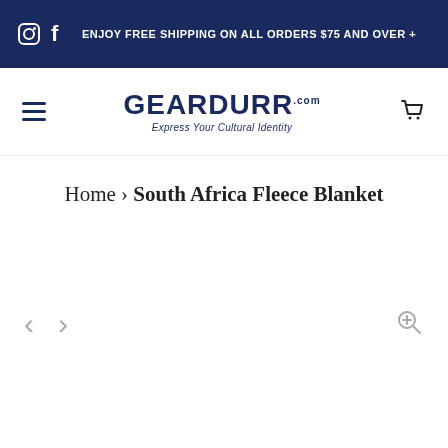ENJOY FREE SHIPPING ON ALL ORDERS $75 AND OVER +
[Figure (logo): GEARDURR.com logo with tagline 'Express Your Cultural Identity']
Home › South Africa Fleece Blanket
[Figure (other): Product image viewer with left/right navigation arrows and zoom icon]